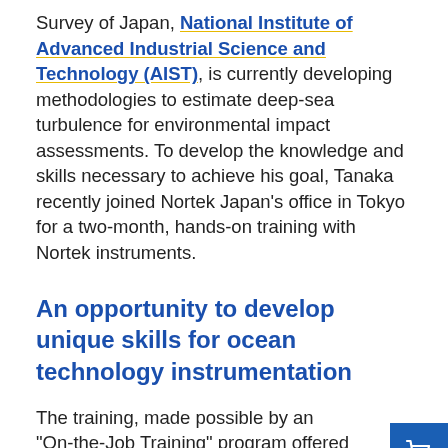Survey of Japan, National Institute of Advanced Industrial Science and Technology (AIST), is currently developing methodologies to estimate deep-sea turbulence for environmental impact assessments. To develop the knowledge and skills necessary to achieve his goal, Tanaka recently joined Nortek Japan's office in Tokyo for a two-month, hands-on training with Nortek instruments.
An opportunity to develop unique skills for ocean technology instrumentation
The training, made possible by an "On-the-Job Training" program offered by AIST Innovation School gave Tanaka experiences and skills that cannot be found in a typical academic environment.
"The reason I chose to train with Nortek Japan was